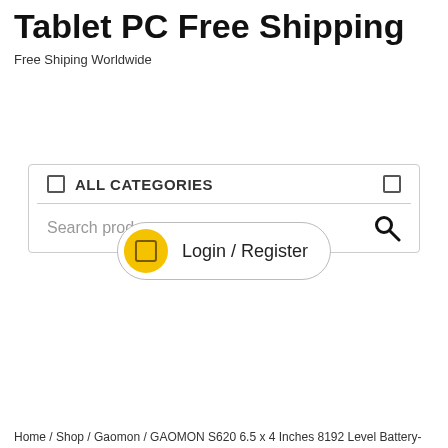Tablet PC Free Shipping
Free Shiping Worldwide
[Figure (screenshot): Search bar with ALL CATEGORIES dropdown and search input field]
[Figure (screenshot): Login / Register button with yellow icon circle]
[Figure (screenshot): Yellow navigation bar with hamburger menu icon on left and cart icon circle on right]
Home / Shop / Gaomon / GAOMON S620 6.5 x 4 Inches 8192 Level Battery-